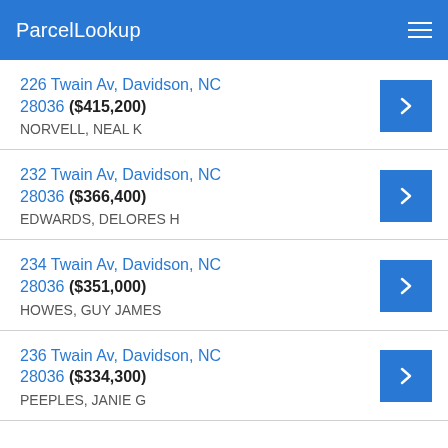ParcelLookup
226 Twain Av, Davidson, NC 28036 ($415,200)
NORVELL, NEAL K
232 Twain Av, Davidson, NC 28036 ($366,400)
EDWARDS, DELORES H
234 Twain Av, Davidson, NC 28036 ($351,000)
HOWES, GUY JAMES
236 Twain Av, Davidson, NC 28036 ($334,300)
PEEPLES, JANIE G